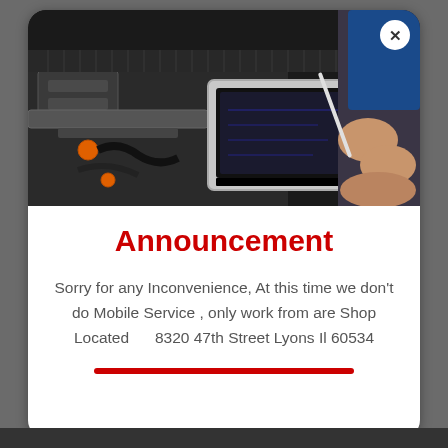[Figure (photo): A mechanic using a diagnostic tablet/scanner on a car engine bay. A hand holding a stylus writes on the tablet screen. Car engine components visible in the background.]
Announcement
Sorry for any Inconvenience, At this time we don't do Mobile Service , only work from are Shop Located     8320 47th Street Lyons Il 60534